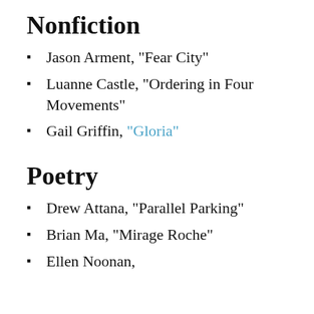Christian Winn, “The Landline”
Nonfiction
Jason Arment, “Fear City”
Luanne Castle, “Ordering in Four Movements”
Gail Griffin, “Gloria”
Poetry
Drew Attana, “Parallel Parking”
Brian Ma, “Mirage Roche”
Ellen Noonan,